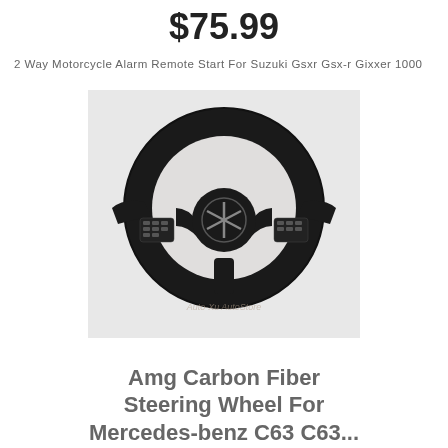$75.99
2 Way Motorcycle Alarm Remote Start For Suzuki Gsxr Gsx-r Gixxer 1000
[Figure (photo): Photo of a Mercedes-Benz AMG carbon fiber steering wheel with paddle shifters and control buttons, on a white background. Watermark reads 'Auto-Xu AutoStore'.]
Amg Carbon Fiber Steering Wheel For Mercedes-benz C63 C63...